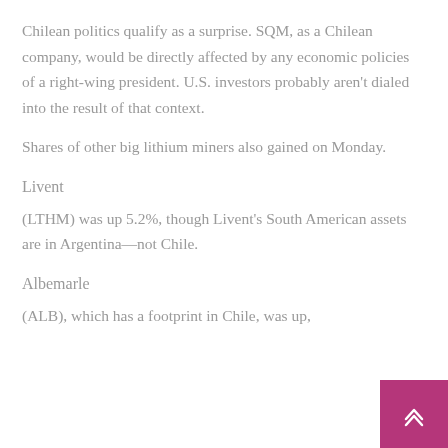Chilean politics qualify as a surprise. SQM, as a Chilean company, would be directly affected by any economic policies of a right-wing president. U.S. investors probably aren't dialed into the result of that context.
Shares of other big lithium miners also gained on Monday.
Livent
(LTHM) was up 5.2%, though Livent's South American assets are in Argentina—not Chile.
Albemarle
(ALB), which has a footprint in Chile, was up,